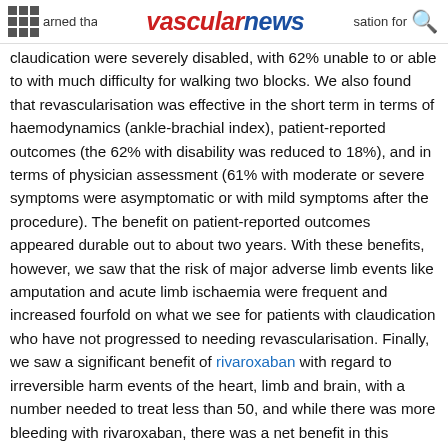vascular news
claudication were severely disabled, with 62% unable to or able to with much difficulty for walking two blocks. We also found that revascularisation was effective in the short term in terms of haemodynamics (ankle-brachial index), patient-reported outcomes (the 62% with disability was reduced to 18%), and in terms of physician assessment (61% with moderate or severe symptoms were asymptomatic or with mild symptoms after the procedure). The benefit on patient-reported outcomes appeared durable out to about two years. With these benefits, however, we saw that the risk of major adverse limb events like amputation and acute limb ischaemia were frequent and increased fourfold on what we see for patients with claudication who have not progressed to needing revascularisation. Finally, we saw a significant benefit of rivaroxaban with regard to irreversible harm events of the heart, limb and brain, with a number needed to treat less than 50, and while there was more bleeding with rivaroxaban, there was a net benefit in this population when looking at events prevented/caused or the net